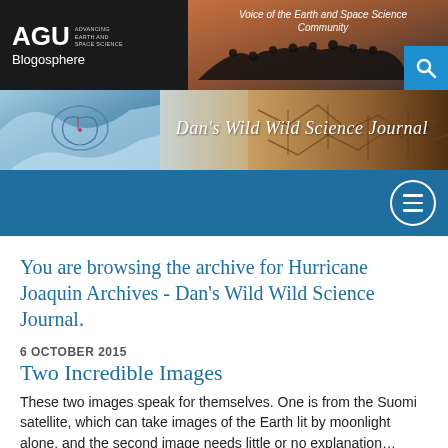[Figure (screenshot): AGU Blogosphere top navigation bar with dark background, sunset photo with silhouettes, and 'Voice of the Earth and Space Science Community' text with search icon]
[Figure (screenshot): Dan's Wild Wild Science Journal banner with ice/glacier imagery on left and cracked earth on right]
[Figure (screenshot): Blue navigation bar with hamburger menu button on right]
You are browsing the archive for Hurricane Joaquin Archives - Dan's Wild Wild Science Journal.
6 OCTOBER 2015
Two Incredible Images
These two images speak for themselves. One is from the Suomi satellite, which can take images of the Earth lit by moonlight alone. and the second image needs little or no explanation…
READ MORE  >>